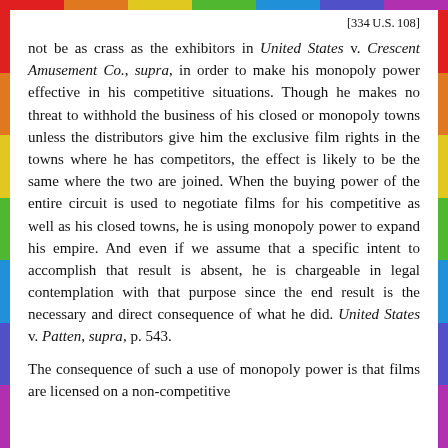[334 U.S. 108]
not be as crass as the exhibitors in United States v. Crescent Amusement Co., supra, in order to make his monopoly power effective in his competitive situations. Though he makes no threat to withhold the business of his closed or monopoly towns unless the distributors give him the exclusive film rights in the towns where he has competitors, the effect is likely to be the same where the two are joined. When the buying power of the entire circuit is used to negotiate films for his competitive as well as his closed towns, he is using monopoly power to expand his empire. And even if we assume that a specific intent to accomplish that result is absent, he is chargeable in legal contemplation with that purpose since the end result is the necessary and direct consequence of what he did. United States v. Patten, supra, p. 543.
The consequence of such a use of monopoly power is that films are licensed on a non-competitive